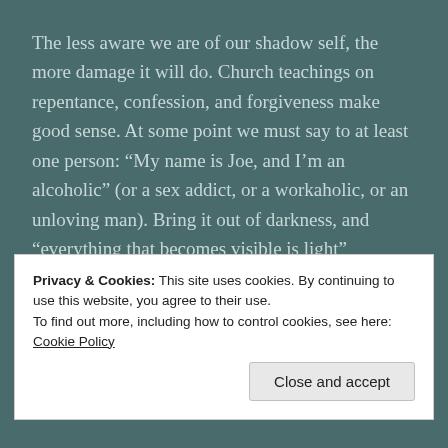The less aware we are of our shadow self, the more damage it will do. Church teachings on repentance, confession, and forgiveness make good sense. At some point we must say to at least one person: “My name is Joe, and I’m an alcoholic” (or a sex addict, or a workaholic, or an unloving man). Bring it out of darkness, and “everything that becomes visible is light” (Ephesians 5:14).

That’s what we mean by making friends with the shadow. The hero in the Holy Grail stories was advised
Privacy & Cookies: This site uses cookies. By continuing to use this website, you agree to their use.
To find out more, including how to control cookies, see here: Cookie Policy
Close and accept
Jesus did on the cross by making his own murder the